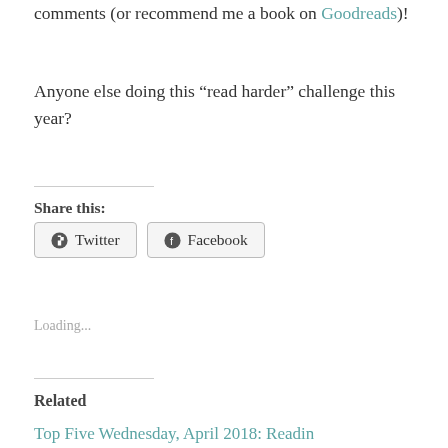comments (or recommend me a book on Goodreads)!
Anyone else doing this “read harder” challenge this year?
Share this:
Twitter  Facebook
Loading...
Related
Top Five Wednesday, April 2018: Reading...